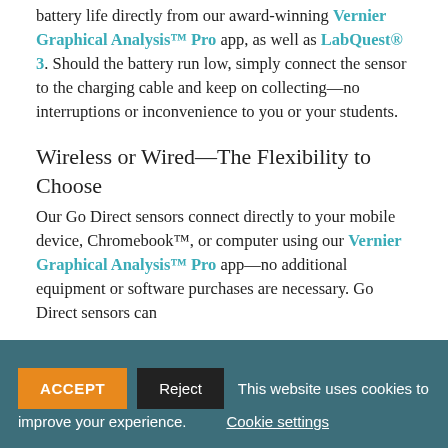battery life directly from our award-winning Vernier Graphical Analysis™ Pro app, as well as LabQuest® 3. Should the battery run low, simply connect the sensor to the charging cable and keep on collecting—no interruptions or inconvenience to you or your students.
Wireless or Wired—The Flexibility to Choose
Our Go Direct sensors connect directly to your mobile device, Chromebook™, or computer using our Vernier Graphical Analysis™ Pro app—no additional equipment or software purchases are necessary. Go Direct sensors can
ACCEPT   Reject   This website uses cookies to improve your experience.   Cookie settings